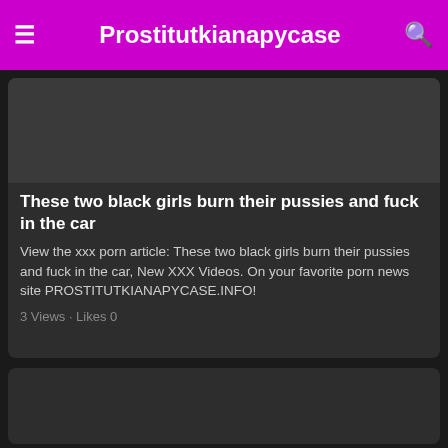≡  Prostitutkianapycase  🔍
[Figure (photo): Dark thumbnail image area for video/article]
These two black girls burn their pussies and fuck in the car
View the xxx porn article: These two black girls burn their pussies and fuck in the car, New XXX Videos. On your favorite porn news site PROSTITUTKIANAPYCASE.INFO!
3 Views · Likes 0
[Figure (photo): Dark thumbnail image area for second article]